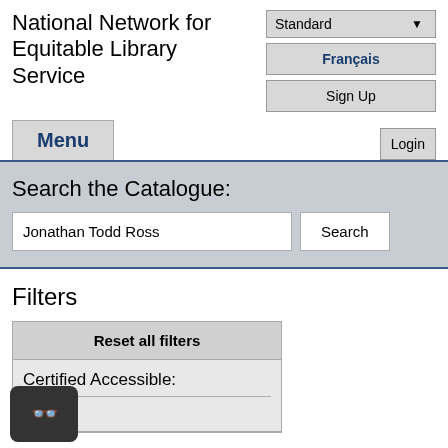National Network for Equitable Library Service
Standard ▾
Français
Sign Up
Menu
Login
Search the Catalogue:
Jonathan Todd Ross
Search
Filters
Reset all filters
Certified Accessible:
es (2)